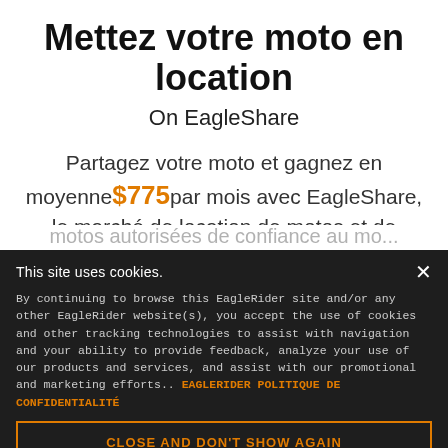Mettez votre moto en location
On EagleShare
Partagez votre moto et gagnez en moyenne $775 par mois avec EagleShare, le marché de location de motos et de …
This site uses cookies.
By continuing to browse this EagleRider site and/or any other EagleRider website(s), you accept the use of cookies and other tracking technologies to assist with navigation and your ability to provide feedback, analyze your use of our products and services, and assist with our promotional and marketing efforts.. EAGLERIDER POLITIQUE DE CONFIDENTIALITÉ
CLOSE AND DON'T SHOW AGAIN